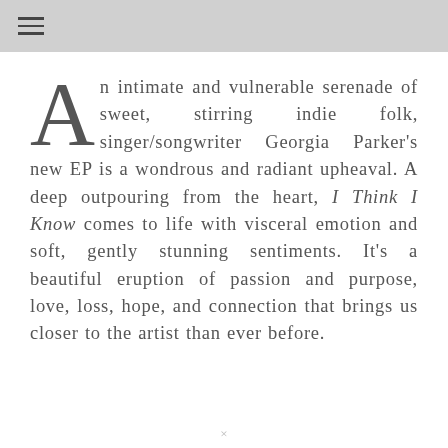≡
An intimate and vulnerable serenade of sweet, stirring indie folk, singer/songwriter Georgia Parker's new EP is a wondrous and radiant upheaval. A deep outpouring from the heart, I Think I Know comes to life with visceral emotion and soft, gently stunning sentiments. It's a beautiful eruption of passion and purpose, love, loss, hope, and connection that brings us closer to the artist than ever before.
×